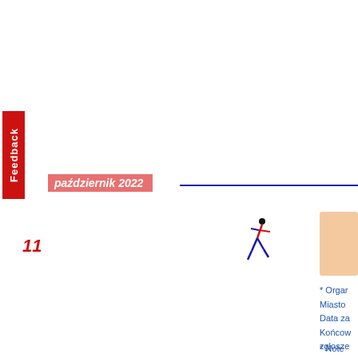Feedback
październik 2022
11
[Figure (illustration): Running figure icon — stylized person running, body in red and blue]
* Orgar
Miasto
Data za
Końcow
zgłosze
* Note